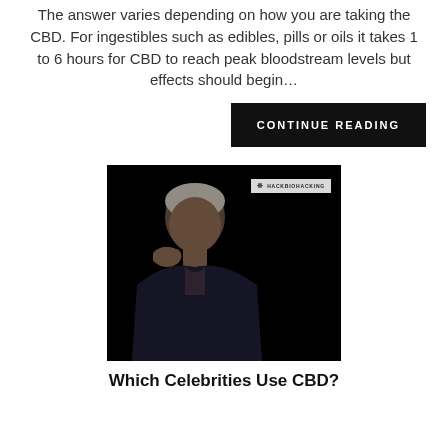The answer varies depending on how you are taking the CBD. For ingestibles such as edibles, pills or oils it takes 1 to 6 hours for CBD to reach peak bloodstream levels but effects should begin…
CONTINUE READING
[Figure (photo): An older man with gray hair resting his chin on his hand against a black background. Text overlay reads 'CELEBRITIES WHO USE CBD' with a HACKBIOHACKING badge in the upper right.]
Which Celebrities Use CBD?